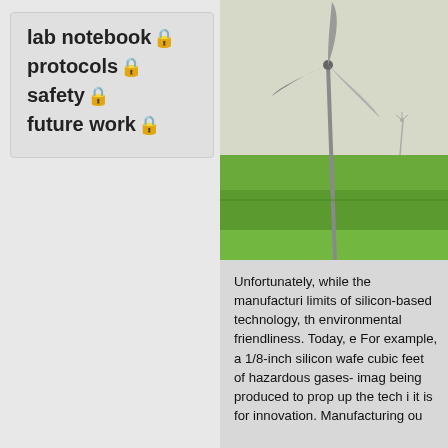lab notebook 🔒
protocols 🔒
safety 🔒
future work 🔒
[Figure (photo): A wind turbine standing in a flat green agricultural field against a light sky, photographed from ground level.]
Unfortunately, while the manufacturing limits of silicon-based technology, the environmental friendliness. Today, e For example, a 1/8-inch silicon wafe cubic feet of hazardous gases- imag being produced to prop up the tech i it is for innovation. Manufacturing ou